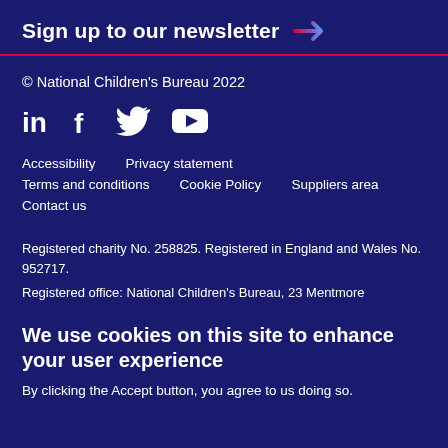Sign up to our newsletter →
© National Children's Bureau 2022
[Figure (illustration): Social media icons: LinkedIn, Facebook, Twitter, YouTube]
Accessibility
Privacy statement
Terms and conditions
Cookie Policy
Suppliers area
Contact us
Registered charity No. 258825. Registered in England and Wales No. 952717.
Registered office: National Children's Bureau, 23 Mentmore
We use cookies on this site to enhance your user experience
By clicking the Accept button, you agree to us doing so.